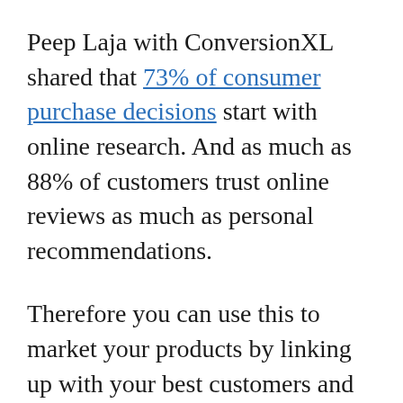Peep Laja with ConversionXL shared that 73% of consumer purchase decisions start with online research. And as much as 88% of customers trust online reviews as much as personal recommendations.
Therefore you can use this to market your products by linking up with your best customers and asking them to leave reviews. Or, even better, share videos and images that include your product.
Plenty of customers are willing to share